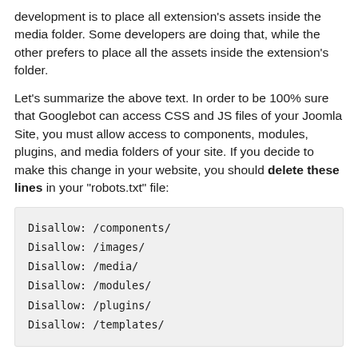development is to place all extension's assets inside the media folder. Some developers are doing that, while the other prefers to place all the assets inside the extension's folder.
Let's summarize the above text. In order to be 100% sure that Googlebot can access CSS and JS files of your Joomla Site, you must allow access to components, modules, plugins, and media folders of your site. If you decide to make this change in your website, you should delete these lines in your "robots.txt" file:
Disallow: /components/
Disallow: /images/
Disallow: /media/
Disallow: /modules/
Disallow: /plugins/
Disallow: /templates/
Note in above code that we also "unlocked" the images